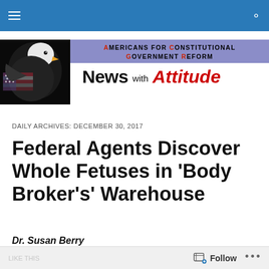Americans for Constitutional Government Reform — News with Attitude
[Figure (logo): Bald eagle with American flag overlay on left; purple banner with 'Americans for Constitutional Government Reform' in red and black text; 'News with Attitude' in bold black and red italic text on white background]
DAILY ARCHIVES: DECEMBER 30, 2017
Federal Agents Discover Whole Fetuses in 'Body Broker's' Warehouse
Dr. Susan Berry
Follow